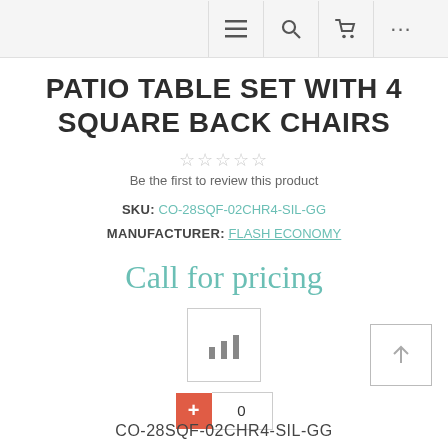≡  🔍  🛒  ···
PATIO TABLE SET WITH 4 SQUARE BACK CHAIRS
☆☆☆☆☆
Be the first to review this product
SKU: CO-28SQF-02CHR4-SIL-GG
MANUFACTURER: FLASH ECONOMY
Call for pricing
[Figure (other): Bar chart / compare icon button in a square border]
+ 0
CO-28SQF-02CHR4-SIL-GG